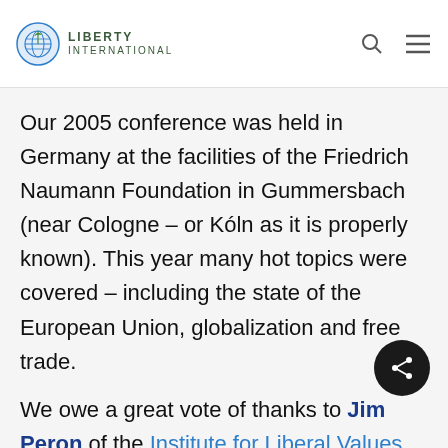Liberty International
Our 2005 conference was held in Germany at the facilities of the Friedrich Naumann Foundation in Gummersbach (near Cologne – or Kóln as it is properly known). This year many hot topics were covered – including the state of the European Union, globalization and free trade.
We owe a great vote of thanks to Jim Peron of the Institute for Liberal Values (New Zealand) and Wolfgang Mueller who has just formed the only privately-funded German thinktank – the Institut für